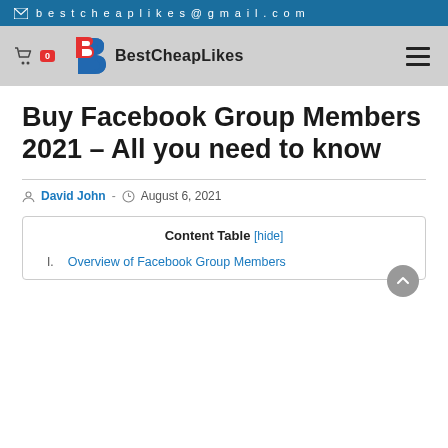✉ bestcheaplikes@gmail.com
[Figure (logo): BestCheapLikes logo with stylized B in red and blue, cart icon with badge showing 0, hamburger menu icon]
Buy Facebook Group Members 2021 – All you need to know
David John · August 6, 2021
| Content Table [hide] |
| --- |
| I. Overview of Facebook Group Members |